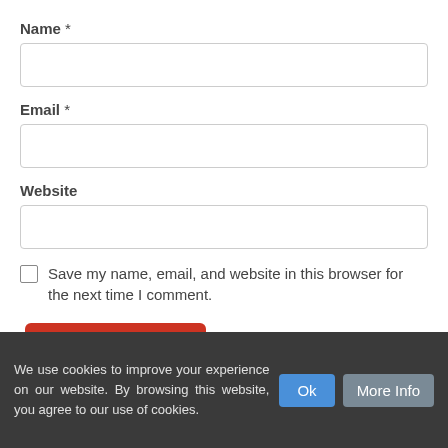Name *
[Figure (screenshot): Empty text input field for Name]
Email *
[Figure (screenshot): Empty text input field for Email]
Website
[Figure (screenshot): Empty text input field for Website]
Save my name, email, and website in this browser for the next time I comment.
[Figure (screenshot): Post Comment button (red/orange rounded button)]
We use cookies to improve your experience on our website. By browsing this website, you agree to our use of cookies.
Ok
More Info